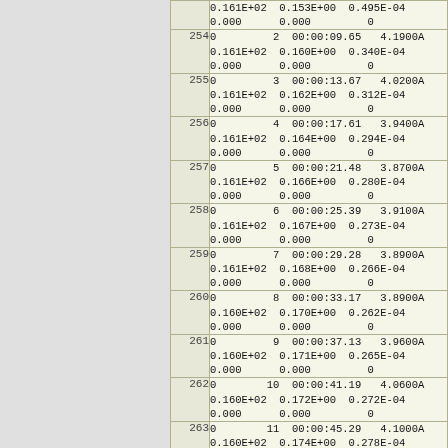| (partial) | 0.161E+02  0.153E+00  0.495E-04
0.000      0.000         0 |
| 254 | 0         2  00:00:09.65   4.1900A
0.161E+02  0.160E+00  0.340E-04
0.000      0.000         0 |
| 255 | 0         3  00:00:13.67   4.0200A
0.161E+02  0.162E+00  0.312E-04
0.000      0.000         0 |
| 256 | 0         4  00:00:17.61   3.9400A
0.161E+02  0.164E+00  0.294E-04
0.000      0.000         0 |
| 257 | 0         5  00:00:21.48   3.8700A
0.161E+02  0.166E+00  0.280E-04
0.000      0.000         0 |
| 258 | 0         6  00:00:25.39   3.9100A
0.161E+02  0.167E+00  0.273E-04
0.000      0.000         0 |
| 259 | 0         7  00:00:29.28   3.8900A
0.161E+02  0.168E+00  0.266E-04
0.000      0.000         0 |
| 260 | 0         8  00:00:33.17   3.8900A
0.160E+02  0.170E+00  0.262E-04
0.000      0.000         0 |
| 261 | 0         9  00:00:37.13   3.9600A
0.160E+02  0.171E+00  0.265E-04
0.000      0.000         0 |
| 262 | 0        10  00:00:41.19   4.0600A
0.160E+02  0.172E+00  0.272E-04
0.000      0.000         0 |
| 263 | 0        11  00:00:45.29   4.1000A
0.160E+02  0.174E+00  0.278E-04
0.000      0.000         0 |
| 264 | 0        12  00:00:49.29   4.0000A
0.160E+02  0.175E+00  0.277E-04
0.000      0.000         0 |